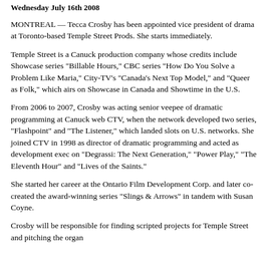Wednesday July 16th 2008
MONTREAL — Tecca Crosby has been appointed vice president of drama at Toronto-based Temple Street Prods. She starts immediately.
Temple Street is a Canuck production company whose credits include Showcase series "Billable Hours," CBC series "How Do You Solve a Problem Like Maria," City-TV's "Canada's Next Top Model," and "Queer as Folk," which airs on Showcase in Canada and Showtime in the U.S.
From 2006 to 2007, Crosby was acting senior veepee of dramatic programming at Canuck web CTV, when the network developed two series, "Flashpoint" and "The Listener," which landed slots on U.S. networks. She joined CTV in 1998 as director of dramatic programming and acted as development exec on "Degrassi: The Next Generation," "Power Play," "The Eleventh Hour" and "Lives of the Saints."
She started her career at the Ontario Film Development Corp. and later co-created the award-winning series "Slings & Arrows" in tandem with Susan Coyne.
Crosby will be responsible for finding scripted projects for Temple Street and pitching the organisation to broadcasters and distributors.